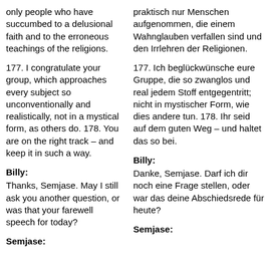only people who have succumbed to a delusional faith and to the erroneous teachings of the religions.
praktisch nur Menschen aufgenommen, die einem Wahnglauben verfallen sind und den Irrlehren der Religionen.
177. I congratulate your group, which approaches every subject so unconventionally and realistically, not in a mystical form, as others do. 178. You are on the right track – and keep it in such a way.
177. Ich beglückwünsche eure Gruppe, die so zwanglos und real jedem Stoff entgegentritt; nicht in mystischer Form, wie dies andere tun. 178. Ihr seid auf dem guten Weg – und haltet das so bei.
Billy:
Billy:
Thanks, Semjase. May I still ask you another question, or was that your farewell speech for today?
Danke, Semjase. Darf ich dir noch eine Frage stellen, oder war das deine Abschiedsrede für heute?
Semjase:
Semjase: